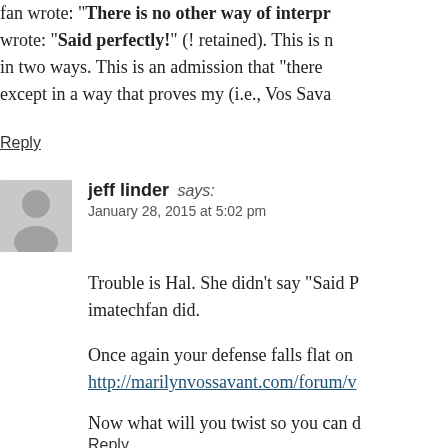fan wrote: "There is no other way of interpr... wrote: "Said perfectly!" (! retained). This is n... in two ways. This is an admission that "there ... except in a way that proves my (i.e., Vos Sava...
Reply
jeff linder says: January 28, 2015 at 5:02 pm
Trouble is Hal. She didn't say "Said P... imatechfan did.
Once again your defense falls flat on http://marilynvossavant.com/forum/v...
Now what will you twist so you can d...
Reply
halginsberg says: January 28, 2015 at 6:23 pm